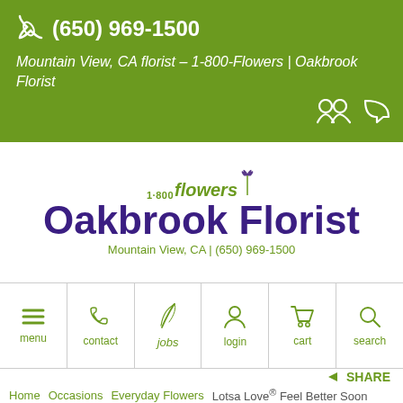(650) 969-1500
Mountain View, CA florist – 1-800-Flowers | Oakbrook Florist
[Figure (logo): 1-800-Flowers Oakbrook Florist logo with tulip icon, text 'Oakbrook Florist', subtitle 'Mountain View, CA | (650) 969-1500']
[Figure (infographic): Navigation bar with icons: menu (hamburger), contact (phone), jobs (feather/pen), login (person), cart (shopping cart), search (magnifying glass)]
SHARE
Home Occasions Everyday Flowers Lotsa Love® Feel Better Soon